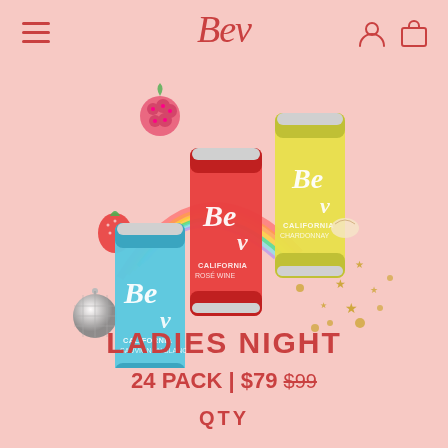Bev
[Figure (photo): Three Bev canned wine products (blue California Sauvignon Blanc, red/pink California Rosé Wine, and yellow California Chardonnay) arranged dynamically with floating strawberries, raspberries, rainbow, disco ball, and gold star confetti on a pink background]
LADIES NIGHT
24 PACK | $79 $99
QTY